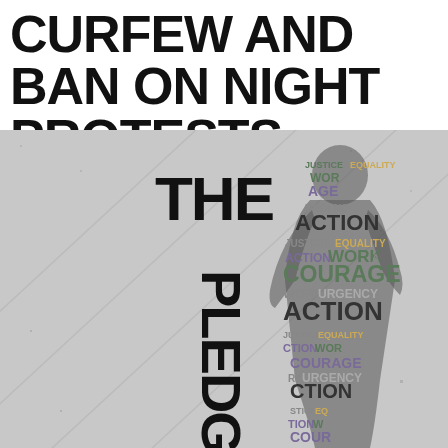CURFEW AND BAN ON NIGHT PROTESTS
[Figure (illustration): Word-cloud silhouette of a person (THE PLEDGE) with repeated words: JUSTICE, EQUALITY, WORK, COURAGE, ACTION, URGENCY, arranged in the shape of a standing human figure against a grey textured background with diagonal lines.]